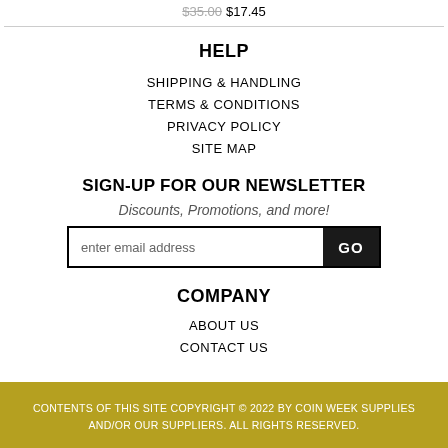$35.00 $17.45
HELP
SHIPPING & HANDLING
TERMS & CONDITIONS
PRIVACY POLICY
SITE MAP
SIGN-UP FOR OUR NEWSLETTER
Discounts, Promotions, and more!
enter email address  GO
COMPANY
ABOUT US
CONTACT US
CONTENTS OF THIS SITE COPYRIGHT © 2022 BY COIN WEEK SUPPLIES AND/OR OUR SUPPLIERS. ALL RIGHTS RESERVED.